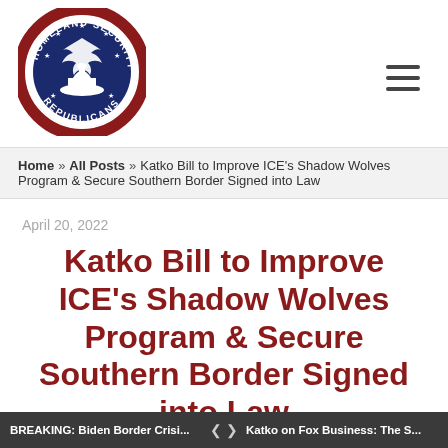[Figure (logo): Homeland Security Republicans circular seal logo with eagle and Capitol dome, red border with stars]
Home » All Posts » Katko Bill to Improve ICE's Shadow Wolves Program & Secure Southern Border Signed into Law
April 20, 2022
Katko Bill to Improve ICE's Shadow Wolves Program & Secure Southern Border Signed into Law
BREAKING: Biden Border Crisi... < > Katko on Fox Business: The S...